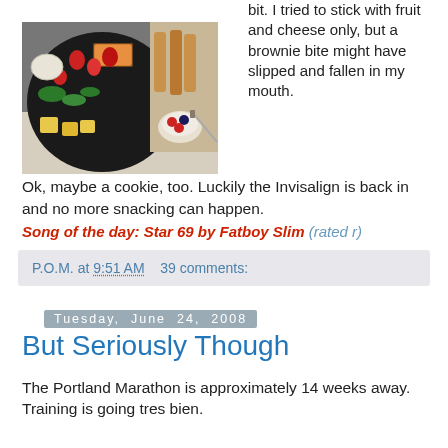[Figure (photo): Food platter with cheese, fruit, strawberries, and bread items on a dark plate and wooden tray]
bit. I tried to stick with fruit and cheese only, but a brownie bite might have slipped and fallen in my mouth. Ok, maybe a cookie, too. Luckily the Invisalign is back in and no more snacking can happen.
Song of the day: Star 69 by Fatboy Slim (rated r)
P.O.M. at 9:51 AM   39 comments:
Tuesday, June 24, 2008
But Seriously Though
The Portland Marathon is approximately 14 weeks away. Training is going tres bien.